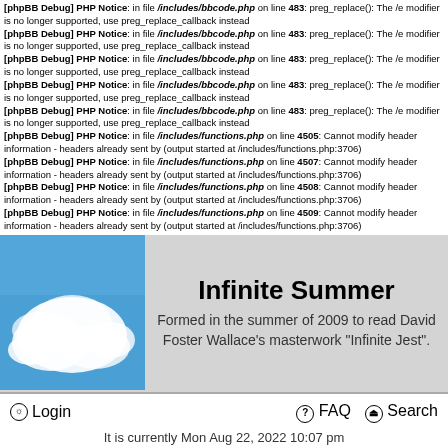[phpBB Debug] PHP Notice: in file /includes/bbcode.php on line 483: preg_replace(): The /e modifier is no longer supported, use preg_replace_callback instead
[phpBB Debug] PHP Notice: in file /includes/bbcode.php on line 483: preg_replace(): The /e modifier is no longer supported, use preg_replace_callback instead
[phpBB Debug] PHP Notice: in file /includes/bbcode.php on line 483: preg_replace(): The /e modifier is no longer supported, use preg_replace_callback instead
[phpBB Debug] PHP Notice: in file /includes/bbcode.php on line 483: preg_replace(): The /e modifier is no longer supported, use preg_replace_callback instead
[phpBB Debug] PHP Notice: in file /includes/bbcode.php on line 483: preg_replace(): The /e modifier is no longer supported, use preg_replace_callback instead
[phpBB Debug] PHP Notice: in file /includes/functions.php on line 4505: Cannot modify header information - headers already sent by (output started at /includes/functions.php:3706)
[phpBB Debug] PHP Notice: in file /includes/functions.php on line 4507: Cannot modify header information - headers already sent by (output started at /includes/functions.php:3706)
[phpBB Debug] PHP Notice: in file /includes/functions.php on line 4508: Cannot modify header information - headers already sent by (output started at /includes/functions.php:3706)
[phpBB Debug] PHP Notice: in file /includes/functions.php on line 4509: Cannot modify header information - headers already sent by (output started at /includes/functions.php:3706)
[Figure (photo): Blue sky with white clouds]
Infinite Summer
Formed in the summer of 2009 to read David Foster Wallace's masterwork "Infinite Jest".
Login   FAQ   Search
It is currently Mon Aug 22, 2022 10:07 pm